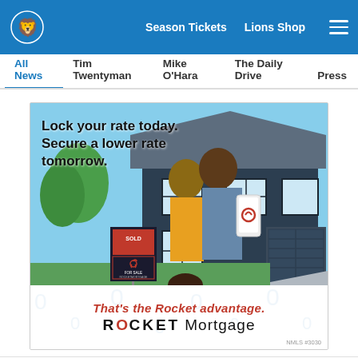Detroit Lions navigation header with Season Tickets, Lions Shop, menu
All News | Tim Twentyman | Mike O'Hara | The Daily Drive | Press
[Figure (photo): Rocket Mortgage advertisement featuring a couple standing in front of a house with a SOLD sign. Text reads: Lock your rate today. Secure a lower rate tomorrow. That's the Rocket advantage. ROCKET Mortgage. NMLS #3030.]
Social sharing icons: Facebook, Twitter, Email, Link